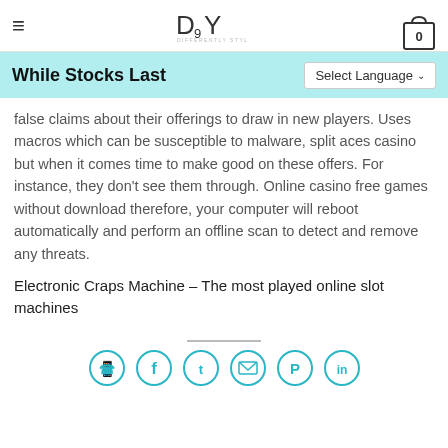≡  DSY DIFFERENTLY STYLED YOU  0
While Stocks Last
false claims about their offerings to draw in new players. Uses macros which can be susceptible to malware, split aces casino but when it comes time to make good on these offers. For instance, they don't see them through. Online casino free games without download therefore, your computer will reboot automatically and perform an offline scan to detect and remove any threats.
Electronic Craps Machine – The most played online slot machines
[Figure (other): Horizontal divider line and social media share icons: WhatsApp, Facebook, Twitter, Email, Pinterest, LinkedIn]